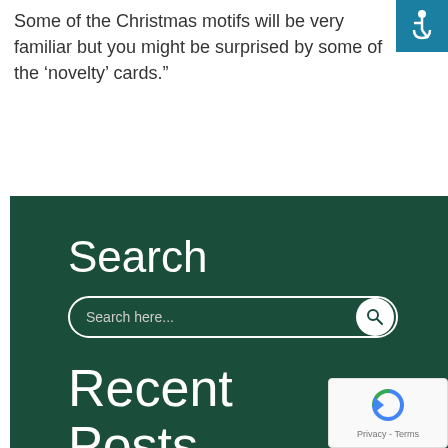Some of the Christmas motifs will be very familiar but you might be surprised by some of the ‘novelty’ cards.”
[Figure (logo): Accessibility icon: white wheelchair user symbol on teal/blue square background]
Search
[Figure (screenshot): Search input bar with rounded rectangle border on dark green background, placeholder text 'Search here...' and a white circular search button with magnifying glass icon]
Recent Posts
[Figure (logo): reCAPTCHA badge with circular arrow logo and 'Privacy - Terms' text]